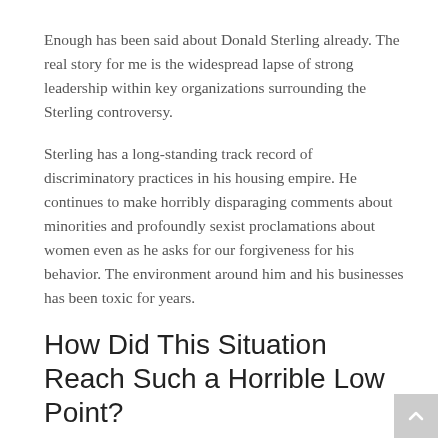Enough has been said about Donald Sterling already. The real story for me is the widespread lapse of strong leadership within key organizations surrounding the Sterling controversy.
Sterling has a long-standing track record of discriminatory practices in his housing empire. He continues to make horribly disparaging comments about minorities and profoundly sexist proclamations about women even as he asks for our forgiveness for his behavior. The environment around him and his businesses has been toxic for years.
How Did This Situation Reach Such a Horrible Low Point?